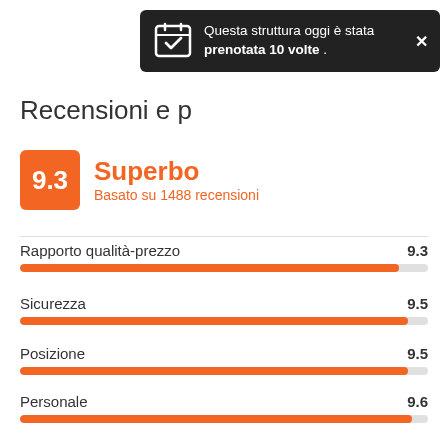[Figure (screenshot): Dark tooltip overlay showing calendar/checkmark icon and text: 'Questa struttura oggi è stata prenotata 10 volte .' with close X button]
Recensioni e p
9.3 Superbo
Basato su 1488 recensioni
Rapporto qualità-prezzo 9.3
Sicurezza 9.5
Posizione 9.5
Personale 9.6
Atmosfera 9.5
Pulizia 9.0